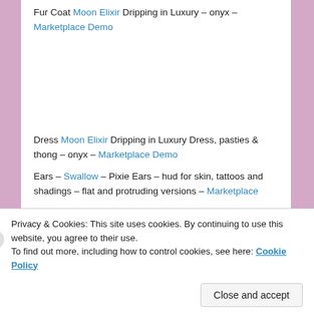Fur Coat Moon Elixir Dripping in Luxury – onyx – Marketplace Demo
Dress Moon Elixir Dripping in Luxury Dress, pasties & thong – onyx – Marketplace Demo
Ears – Swallow – Pixie Ears – hud for skin, tattoos and shadings – flat and protruding versions – Marketplace
Eyes Avi-Glam Vivid Eyes – Amber – Marketplace
Privacy & Cookies: This site uses cookies. By continuing to use this website, you agree to their use. To find out more, including how to control cookies, see here: Cookie Policy